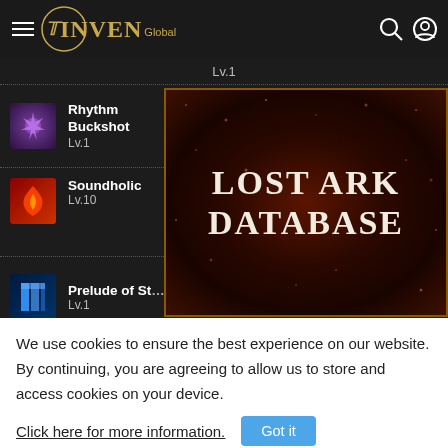INVEN Global
[Figure (screenshot): Game skill list UI showing Rhythm Buckshot Lv.1 with rune slots I, II, III and a circle slot; Soundholic Lv.10 with speed/sustain/focus fire rune icons; Prelude of Storm Lv.1; overlaid by Lost Ark Database advertisement banner]
We use cookies to ensure the best experience on our website. By continuing, you are agreeing to allow us to store and access cookies on your device.
Click here for more information.
Got it